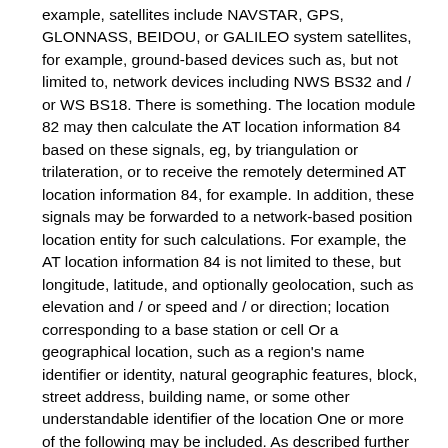example, satellites include NAVSTAR, GPS, GLONNASS, BEIDOU, or GALILEO system satellites, for example, ground-based devices such as, but not limited to, network devices including NWS BS32 and / or WS BS18. There is something. The location module 82 may then calculate the AT location information 84 based on these signals, eg, by triangulation or trilateration, or to receive the remotely determined AT location information 84, for example. In addition, these signals may be forwarded to a network-based position location entity for such calculations. For example, the AT location information 84 is not limited to these, but longitude, latitude, and optionally geolocation, such as elevation and / or speed and / or direction; location corresponding to a base station or cell Or a geographical location, such as a region's name identifier or identity, natural geographic features, block, street address, building name, or some other understandable identifier of the location One or more of the following may be included. As described further below, the apparatus and method may utilize AT location information 84 to identify available or unavailable white space frequencies near the AT, and / or The WS BS that is responsible for the area where the AT is located may be identified.